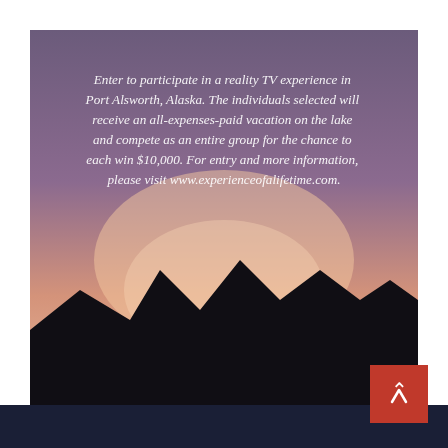[Figure (illustration): Scenic Alaska landscape with purple-pink sunset sky gradient over dark mountain silhouettes, with overlaid italic white text about a reality TV experience contest in Port Alsworth, Alaska offering $10,000 prize.]
Enter to participate in a reality TV experience in Port Alsworth, Alaska. The individuals selected will receive an all-expenses-paid vacation on the lake and compete as an entire group for the chance to each win $10,000. For entry and more information, please visit www.experienceofalifetime.com.